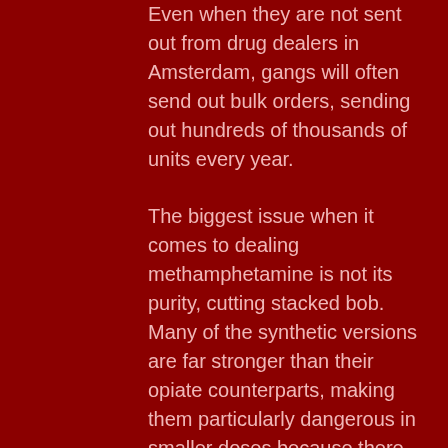Even when they are not sent out from drug dealers in Amsterdam, gangs will often send out bulk orders, sending out hundreds of thousands of units every year.
The biggest issue when it comes to dealing methamphetamine is not its purity, cutting stacked bob. Many of the synthetic versions are far stronger than their opiate counterparts, making them particularly dangerous in smaller doses because there are a ton of them involved in a typical dose (the exact number of milligrams is unknown).
While most people would consider amphetamine to be a "good thing" in the realm of illegal drugs, many drug dealers and buyers would rather make a buck on a stronger drug, so users tend to pay for the stronger, often highly toxic drugs with higher prices for a larger amount of pure heroin than an anabolic steroid to get what they